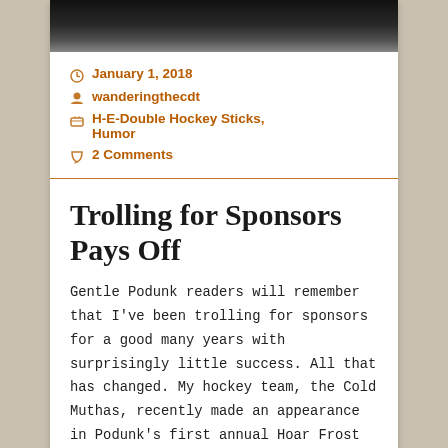[Figure (photo): Dark water or night scene photo cropped at top of card]
January 1, 2018
wanderingthecdt
H-E-Double Hockey Sticks, Humor
2 Comments
Trolling for Sponsors Pays Off
Gentle Podunk readers will remember that I've been trolling for sponsors for a good many years with surprisingly little success. All that has changed. My hockey team, the Cold Muthas, recently made an appearance in Podunk's first annual Hoar Frost tournament. And we did so with the